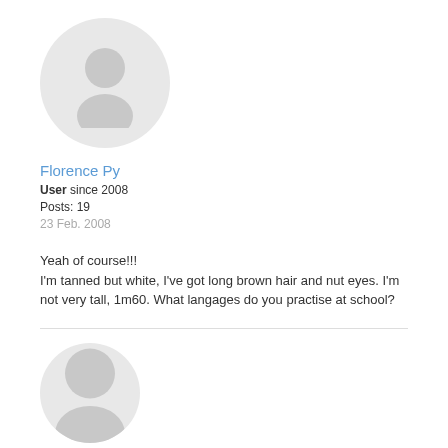[Figure (illustration): Circular avatar placeholder with a generic silhouette of a person, light grey background]
Florence Py
User since 2008
Posts: 19
23 Feb. 2008
Yeah of course!!!
I'm tanned but white, I've got long brown hair and nut eyes. I'm not very tall, 1m60. What langages do you practise at school?
[Figure (illustration): Partially visible circular avatar placeholder at bottom of page]